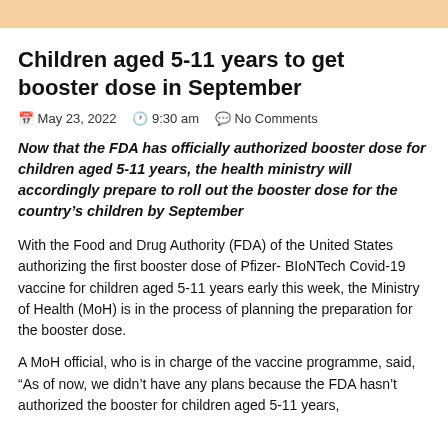Children aged 5-11 years to get booster dose in September
May 23, 2022   9:30 am   No Comments
Now that the FDA has officially authorized booster dose for children aged 5-11 years, the health ministry will accordingly prepare to roll out the booster dose for the country's children by September
With the Food and Drug Authority (FDA) of the United States authorizing the first booster dose of Pfizer- BIoNTech Covid-19 vaccine for children aged 5-11 years early this week, the Ministry of Health (MoH) is in the process of planning the preparation for the booster dose.
A MoH official, who is in charge of the vaccine programme, said, “As of now, we didn’t have any plans because the FDA hasn’t authorized the booster for children aged 5-11 years,